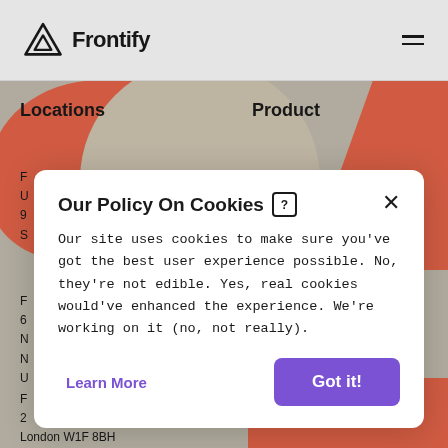[Figure (logo): Frontify logo with triangular icon and wordmark]
Locations
Product
F
U
9
S
F
6
N
N
U
F
2
London W1F 8BH
United Kingdom
Analytics
Our Policy On Cookies ?
Our site uses cookies to make sure you've got the best user experience possible. No, they're not edible. Yes, real cookies would've enhanced the experience. We're working on it (no, not really).
Learn More
Got it!